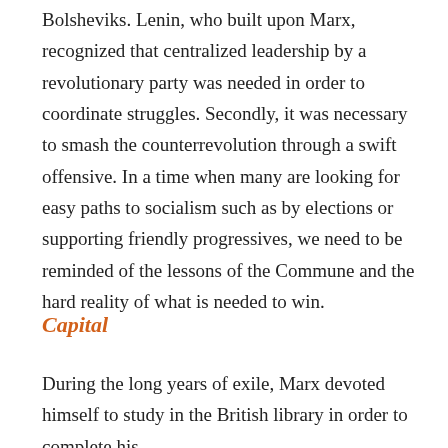Bolsheviks. Lenin, who built upon Marx, recognized that centralized leadership by a revolutionary party was needed in order to coordinate struggles. Secondly, it was necessary to smash the counterrevolution through a swift offensive. In a time when many are looking for easy paths to socialism such as by elections or supporting friendly progressives, we need to be reminded of the lessons of the Commune and the hard reality of what is needed to win.
Capital
During the long years of exile, Marx devoted himself to study in the British library in order to complete his